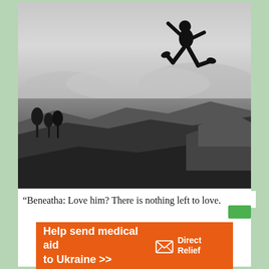[Figure (photo): Black and white photograph of a person silhouetted mid-jump/leap against a misty mountainous landscape background. The figure appears to be running or jumping on a rocky hilltop with trees and mountains visible in the distance.]
“Beneatha: Love him? There is nothing left to love.
[Figure (infographic): Orange advertisement banner reading 'Help send medical aid to Ukraine >>' with Direct Relief logo and icon on the right side.]